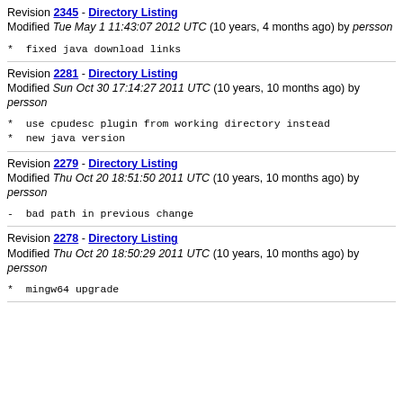Revision 2345 - Directory Listing
Modified Tue May 1 11:43:07 2012 UTC (10 years, 4 months ago) by persson
* fixed java download links
Revision 2281 - Directory Listing
Modified Sun Oct 30 17:14:27 2011 UTC (10 years, 10 months ago) by persson
* use cpudesc plugin from working directory instead
* new java version
Revision 2279 - Directory Listing
Modified Thu Oct 20 18:51:50 2011 UTC (10 years, 10 months ago) by persson
- bad path in previous change
Revision 2278 - Directory Listing
Modified Thu Oct 20 18:50:29 2011 UTC (10 years, 10 months ago) by persson
* mingw64 upgrade